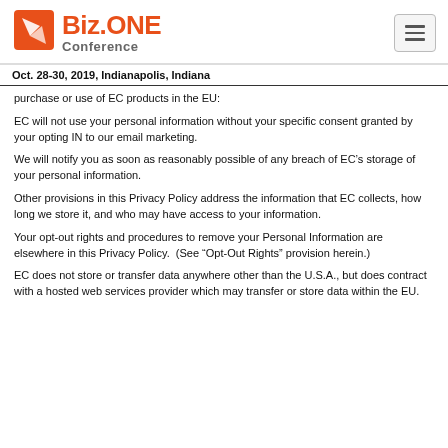[Figure (logo): Biz.ONE Conference logo with orange icon and text]
Oct. 28-30, 2019, Indianapolis, Indiana
purchase or use of EC products in the EU:
EC will not use your personal information without your specific consent granted by your opting IN to our email marketing.
We will notify you as soon as reasonably possible of any breach of EC’s storage of your personal information.
Other provisions in this Privacy Policy address the information that EC collects, how long we store it, and who may have access to your information.
Your opt-out rights and procedures to remove your Personal Information are elsewhere in this Privacy Policy.  (See “Opt-Out Rights” provision herein.)
EC does not store or transfer data anywhere other than the U.S.A., but does contract with a hosted web services provider which may transfer or store data within the EU.